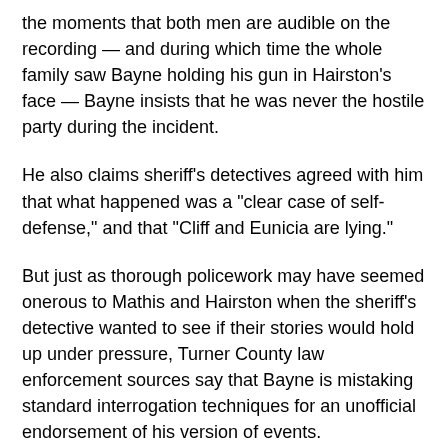the moments that both men are audible on the recording — and during which time the whole family saw Bayne holding his gun in Hairston's face — Bayne insists that he was never the hostile party during the incident.
He also claims sheriff's detectives agreed with him that what happened was a "clear case of self-defense," and that "Cliff and Eunicia are lying."
But just as thorough policework may have seemed onerous to Mathis and Hairston when the sheriff's detective wanted to see if their stories would hold up under pressure, Turner County law enforcement sources say that Bayne is mistaking standard interrogation techniques for an unofficial endorsement of his version of events.
Bayne says he plans to take civil, and perhaps federal, court action in defense of his rights. He also claims that Mathis and